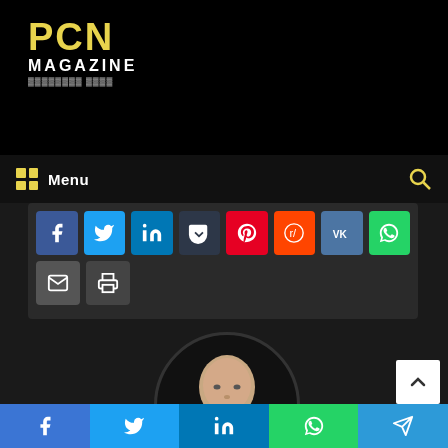[Figure (logo): PCN Magazine logo with yellow PCN text and white MAGAZINE text on black background]
[Figure (screenshot): Navigation bar with yellow grid icon, Menu text, and yellow search icon]
[Figure (screenshot): Social share buttons row: Facebook, Twitter, LinkedIn, dark button, Pinterest, Reddit, VK, WhatsApp, Email, Print]
[Figure (photo): Circular profile photo of a bald man in a black shirt against dark background]
[Figure (screenshot): Bottom share bar with Facebook, Twitter, LinkedIn, WhatsApp, Telegram icons]